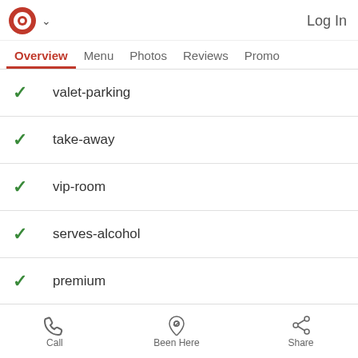Log In
Overview  Menu  Photos  Reviews  Promo
valet-parking
take-away
vip-room
serves-alcohol
premium
Reviews of Bauhaus 1933
See All >
Call  Been Here  Share